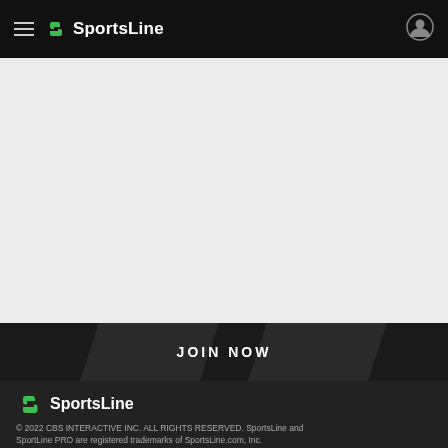SportsLine
[Figure (other): Empty light gray content area placeholder]
JOIN NOW
[Figure (logo): SportsLine logo with green S icon and white SportsLine text]
© 2022 CBS INTERACTIVE INC. ALL RIGHTS RESERVED. SportsLine and SportLine PRO are registered trademarks of SportsLine.com, Inc.